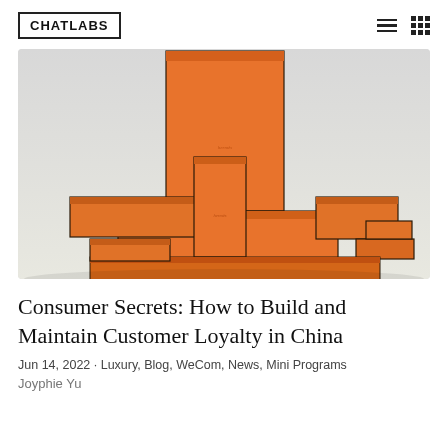CHATLABS
[Figure (photo): Multiple orange Hermès gift boxes of various sizes arranged in a stepped/stacked composition against a light grey background.]
Consumer Secrets: How to Build and Maintain Customer Loyalty in China
Jun 14, 2022 · Luxury, Blog, WeCom, News, Mini Programs
Joyphie Yu